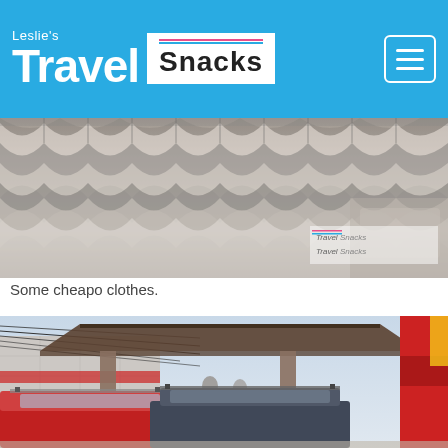Leslie's Travel Snacks
[Figure (photo): Rows of wavy striped clothing items hanging on hangers in a market stall, with a Travel Snacks watermark visible in the lower right]
Some cheapo clothes.
[Figure (photo): Street scene showing a covered outdoor market or food court area with parked cars in the foreground, utility wires overhead, red-facade buildings, and a wooden canopy structure over dining tables]